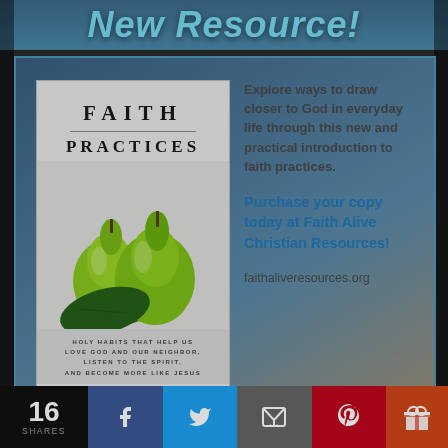New Resource!
[Figure (photo): Book cover for 'Faith Practices' showing two green pears with leaves on a white background, with subtitle text about holy habits]
Explore ways to draw closer to God in everyday life through this new and practical introduction to faith practices.
Purchase your copy today at Faith Alive Christian Resources!
faithaliveresources.org
16 SHARES